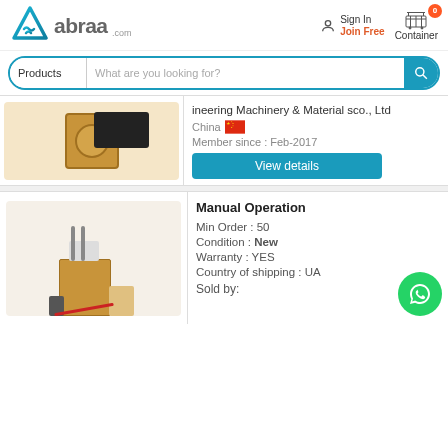[Figure (logo): Abraa.com logo with teal geometric mark and gray text]
Sign In
Join Free
Container
Products  What are you looking for?
ineering Machinery & Material sco., Ltd
China
Member since : Feb-2017
View details
Manual Operation
Min Order : 50
Condition : New
Warranty : YES
Country of shipping : UA
Sold by: